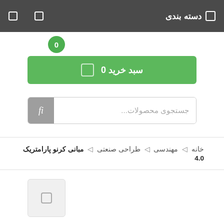دسته بندی
0
سبد خرید 0
جستجوی محصولات...
خانه / مهندسی / طراحی صنعتی / مبانی کرنو پارامتریک 4.0
[Figure (screenshot): Small grey thumbnail placeholder box with icon]